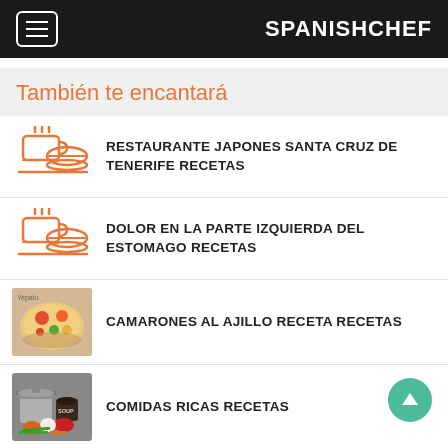SPANISHCHEF
También te encantará
RESTAURANTE JAPONES SANTA CRUZ DE TENERIFE RECETAS
DOLOR EN LA PARTE IZQUIERDA DEL ESTOMAGO RECETAS
CAMARONES AL AJILLO RECETA RECETAS
COMIDAS RICAS RECETAS